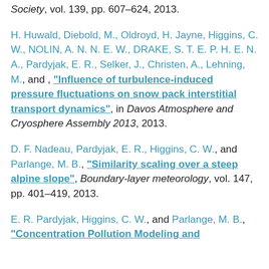Society, vol. 139, pp. 607–624, 2013.
H. Huwald, Diebold, M., Oldroyd, H. Jayne, Higgins, C. W., NOLIN, A. N. N. E. W., DRAKE, S. T. E. P. H. E. N. A., Pardyjak, E. R., Selker, J., Christen, A., Lehning, M., and , "Influence of turbulence-induced pressure fluctuations on snow pack interstitial transport dynamics", in Davos Atmosphere and Cryosphere Assembly 2013, 2013.
D. F. Nadeau, Pardyjak, E. R., Higgins, C. W., and Parlange, M. B., "Similarity scaling over a steep alpine slope", Boundary-layer meteorology, vol. 147, pp. 401–419, 2013.
E. R. Pardyjak, Higgins, C. W., and Parlange, M. B., "Concentration Pollution Modeling and ...